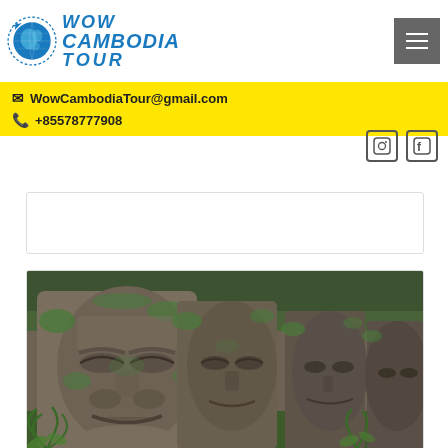Wow Cambodia Tour - logo and navigation header
WowCambodiaTour@gmail.com
+85578777908
[Figure (photo): Moss-covered ancient stone carved faces at a Cambodian temple ruins, multiple faces in a row with green jungle foliage in background]
[Figure (logo): Wow Cambodia Tour logo with globe icon and stylized text]